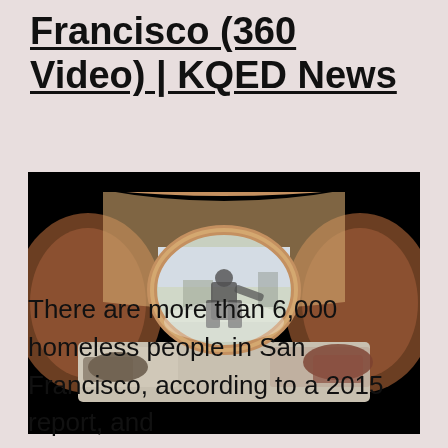Francisco (360 Video) | KQED News
[Figure (photo): 360-degree video still showing the interior of a homeless person's sleeping pod/tent in San Francisco, with a circular oval opening/window in the center showing a person entering from outside, with bedding and belongings visible around the interior edges.]
There are more than 6,000 homeless people in San Francisco, according to a 2015 report, and